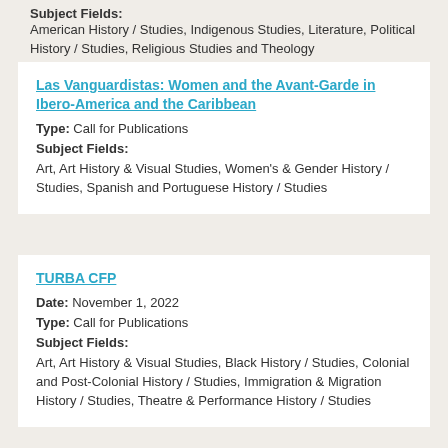Subject Fields: American History / Studies, Indigenous Studies, Literature, Political History / Studies, Religious Studies and Theology
Las Vanguardistas: Women and the Avant-Garde in Ibero-America and the Caribbean
Type: Call for Publications
Subject Fields:
Art, Art History & Visual Studies, Women's & Gender History / Studies, Spanish and Portuguese History / Studies
TURBA CFP
Date: November 1, 2022
Type: Call for Publications
Subject Fields:
Art, Art History & Visual Studies, Black History / Studies, Colonial and Post-Colonial History / Studies, Immigration & Migration History / Studies, Theatre & Performance History / Studies